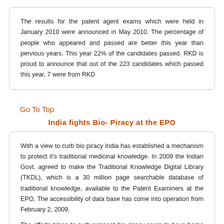The results for the patent agent exams which were held in January 2010 were announced in May 2010. The percentage of people who appeared and passed are better this year than pervious years. This year 22% of the candidates passed. RKD is proud to announce that out of the 223 candidates which passed this year, 7 were from RKD
Go To Top
India fights Bio- Piracy at the EPO
With a view to curb bio piracy India has established a mechanism to protect it's traditional medicinal knowledge. In 2009 the Indian Govt. agreed to make the Traditional Knowledge Digital Library (TKDL), which is a 30 million page searchable database of traditional knowledge, available to the Patent Examiners at the EPO. The accessibility of data base has come into operation from February 2, 2009.
The efforts taken to curb rampant bio piracy seem to have borne fruit as a recent TKDL team study shows a sharp decline